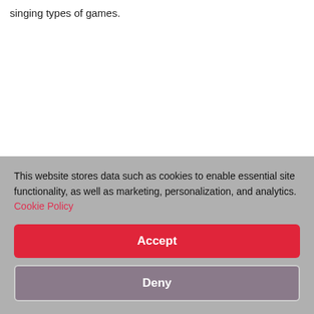singing types of games.
This website stores data such as cookies to enable essential site functionality, as well as marketing, personalization, and analytics. Cookie Policy
Accept
Deny